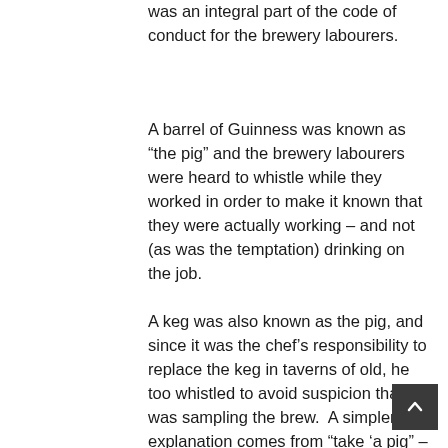was an integral part of the code of conduct for the brewery labourers.
A barrel of Guinness was known as “the pig” and the brewery labourers were heard to whistle while they worked in order to make it known that they were actually working – and not (as was the temptation) drinking on the job.
A keg was also known as the pig, and since it was the chef’s responsibility to replace the keg in taverns of old, he too whistled to avoid suspicion that he was sampling the brew.  A simpler explanation comes from “take ‘a pig” – a Sussex drinking vessel shaped like a pig; added with the expression “wet your whistle” – meaning to have a drink, and there you have it; Pig & Whistle. Whichever meaning you fancy – The Pig & Whistle Tavern is a the perfect spot to catch with friends and family for a chin wag